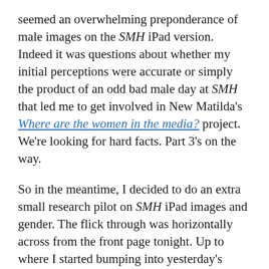seemed an overwhelming preponderance of male images on the SMH iPad version. Indeed it was questions about whether my initial perceptions were accurate or simply the product of an odd bad male day at SMH that led me to get involved in New Matilda's Where are the women in the media? project. We're looking for hard facts. Part 3's on the way.
So in the meantime, I decided to do an extra small research pilot on SMH iPad images and gender. The flick through was horizontally across from the front page tonight. Up to where I started bumping into yesterday's stories, I counted 100 images of men compared to 13 women. Just 12% of the people I saw were women. Overall, the story is one of men who speak, men who represent, men who play sport and men who are